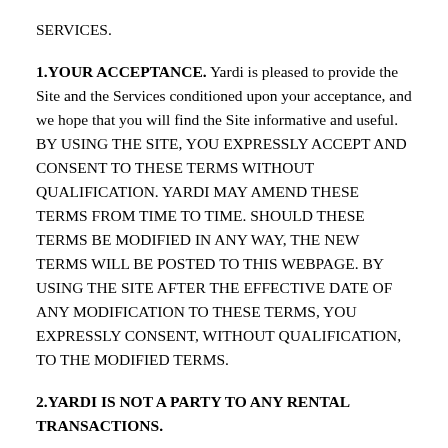SERVICES.
1.YOUR ACCEPTANCE. Yardi is pleased to provide the Site and the Services conditioned upon your acceptance, and we hope that you will find the Site informative and useful. BY USING THE SITE, YOU EXPRESSLY ACCEPT AND CONSENT TO THESE TERMS WITHOUT QUALIFICATION. YARDI MAY AMEND THESE TERMS FROM TIME TO TIME. SHOULD THESE TERMS BE MODIFIED IN ANY WAY, THE NEW TERMS WILL BE POSTED TO THIS WEBPAGE. BY USING THE SITE AFTER THE EFFECTIVE DATE OF ANY MODIFICATION TO THESE TERMS, YOU EXPRESSLY CONSENT, WITHOUT QUALIFICATION, TO THE MODIFIED TERMS.
2.YARDI IS NOT A PARTY TO ANY RENTAL TRANSACTIONS.